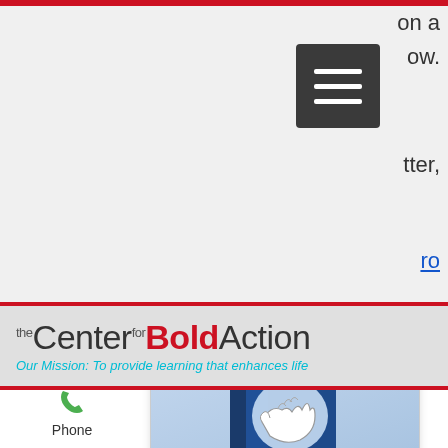on a
ow.
tter,
ro
[Figure (logo): The Center for Bold Action logo with tagline: Our Mission: To provide learning that enhances life]
[Figure (illustration): Book cover showing handshake illustration on blue background, with text HAND to HAND and Connecting that Cares]
HAND to HAND
Connecting that Cares
Phone
Email
Facebook